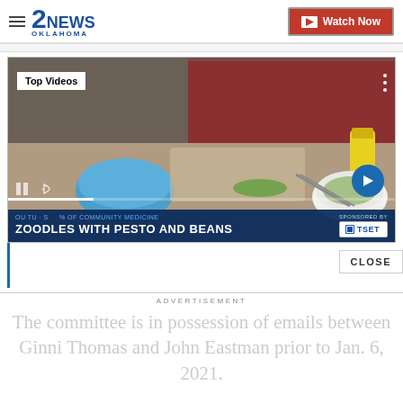2NEWS OKLAHOMA — Watch Now
[Figure (screenshot): Video player showing cooking segment 'Zoodles with Pesto and Beans' with Top Videos badge, TSET sponsor logo, and next arrow button. Shows a kitchen countertop scene with food preparation.]
CLOSE
ADVERTISEMENT
The committee is in possession of emails between Ginni Thomas and John Eastman prior to Jan. 6, 2021.